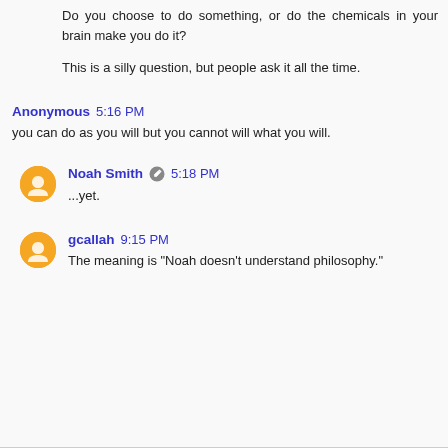Do you choose to do something, or do the chemicals in your brain make you do it?

This is a silly question, but people ask it all the time.
Anonymous 5:16 PM
you can do as you will but you cannot will what you will.
Noah Smith 5:18 PM
...yet.
gcallah 9:15 PM
The meaning is "Noah doesn't understand philosophy."